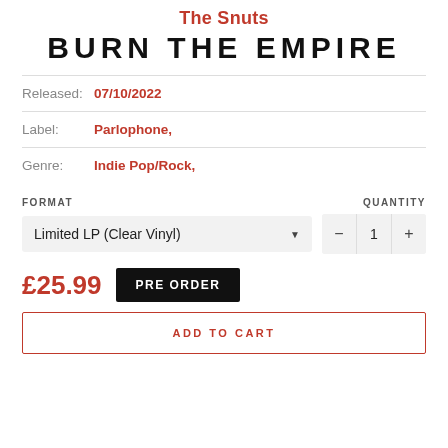The Snuts
BURN THE EMPIRE
Released: 07/10/2022
Label: Parlophone,
Genre: Indie Pop/Rock,
FORMAT
QUANTITY
Limited LP (Clear Vinyl)
1
£25.99
PRE ORDER
ADD TO CART